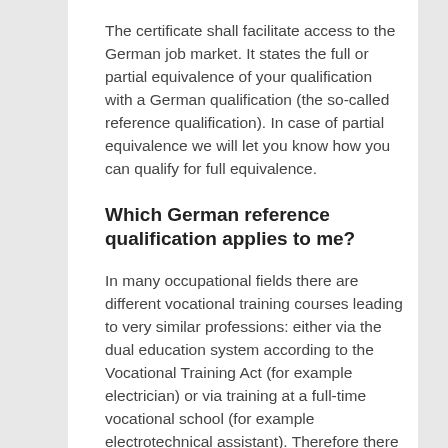The certificate shall facilitate access to the German job market. It states the full or partial equivalence of your qualification with a German qualification (the so-called reference qualification). In case of partial equivalence we will let you know how you can qualify for full equivalence.
Which German reference qualification applies to me?
In many occupational fields there are different vocational training courses leading to very similar professions: either via the dual education system according to the Vocational Training Act (for example electrician) or via training at a full-time vocational school (for example electrotechnical assistant). Therefore there might be more than one German profession